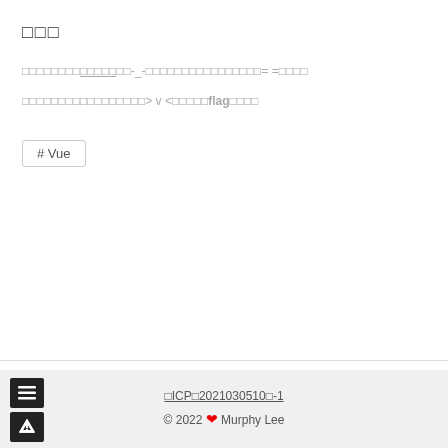□□□
□□□□□□□□□□□□□□□-_-□□□□□□□□□□□□□□□□= =□□□□
□□□□□□□□□□□□□□□□□> v <□□□□□flag□□□□
# Vue
‹  php□□□□□□□□□demo        □□□□vue-cli□□webpack□□  ›
□ICP□2021030510□-1  © 2022 ❤ Murphy Lee